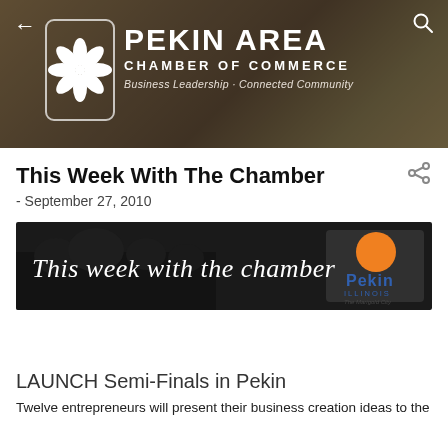[Figure (logo): Pekin Area Chamber of Commerce header banner with logo (stylized flower/pinwheel), organization name, tagline 'Business Leadership · Connected Community', back arrow and search icon on blurred food background]
This Week With The Chamber
- September 27, 2010
[Figure (photo): Banner image with dark background reading 'This week with the chamber' in script font, with Pekin Illinois city logo on the right]
LAUNCH Semi-Finals in Pekin
Twelve entrepreneurs will present their business creation ideas to the